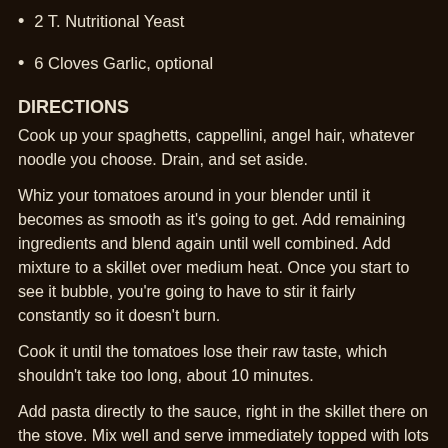2 T. Nutritional Yeast
6 Cloves Garlic, optional
DIRECTIONS
Cook up your spaghetts, cappellini, angel hair, whatever noodle you choose. Drain, and set aside.
Whiz your tomatoes around in your blender until it becomes as smooth as it’s going to get. Add remaining ingredients and blend again until well combined. Add mixture to a skillet over medium heat. Once you start to see it bubble, you’re going to have to stir it fairly constantly so it doesn’t burn.
Cook it until the tomatoes lose their raw taste, which shouldn’t take too long, about 10 minutes.
Add pasta directly to the sauce, right in the skillet there on the stove. Mix well and serve immediately topped with lots of freshly cracked black pepper (or basil and diced tomatoes).